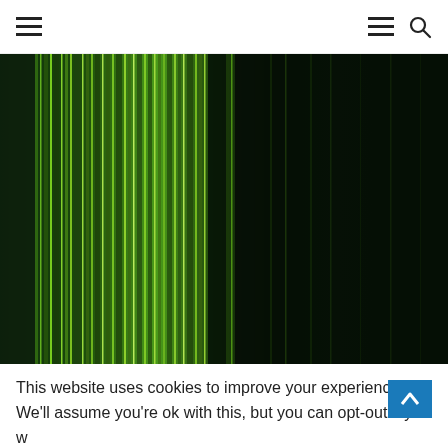Navigation header with hamburger menu and search icon
[Figure (illustration): Abstract green vertical stripes pattern ranging from bright lime green on the left to dark forest green on the right, resembling motion blur or fiber optic lines]
This website uses cookies to improve your experience. We'll assume you're ok with this, but you can opt-out if you w
Litecoin(LTC) $59.96   Monero(XMR) $156.18   Ste